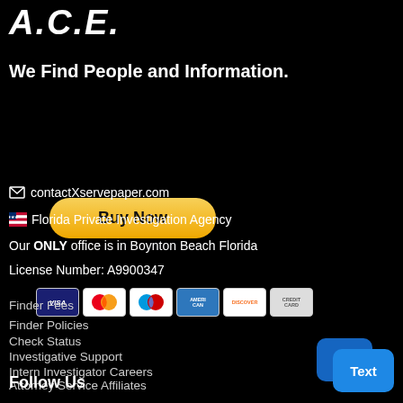A.C.E.
We Find People and Information.
[Figure (other): Buy Now button with PayPal-style yellow rounded button and payment card icons (VISA, Mastercard, Maestro, AmEx, Discover, credit card)]
contactXservepaper.com
Florida Private Investigation Agency
Our ONLY office is in Boynton Beach Florida
License Number: A9900347
Finder Fees
Finder Policies
Check Status
Investigative Support
Intern Investigator Careers
Attorney Service Affiliates
Follow Us
[Figure (other): Blue chat/text widget icon in lower right corner]